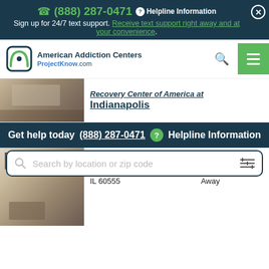(888) 287-0471  Helpline Information
Sign up for 24/7 text support. Receive text support right away and at your convenience.
[Figure (logo): American Addiction Centers / ProjectKnow.com logo with navigation icons]
Recovery Center of America at Indianapolis
Get help today (888) 287-0471  Helpline Information
[Figure (screenshot): Search by location or zip code input field with filter icon]
Rehab
28373 Davis Pkwy Warenville, IL 60555  - 111 Miles Away